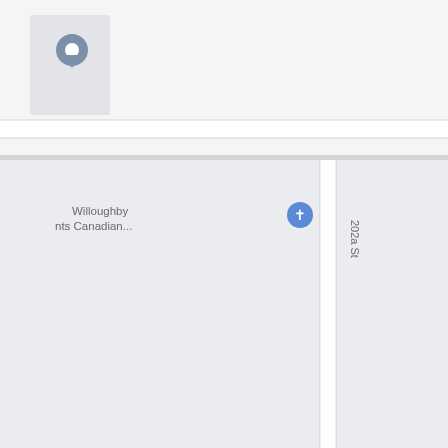[Figure (map): Google Maps screenshot showing the location at 20321 80 Ave, Langley, BC V2Y 2A4. The map shows streets including 202a St and 204 St, with landmarks including Willoughby Canadian, Impark Parking, and Donna Gab Robins Element. A red location pin marks the address in the upper portion of the map, and blue parking icons are visible.]
Pricing for Skylark
Skylark is currently in its pre-construction phase. Sign up to my VIP list above for priority access to Skylark updates.
Floor Plans for Skylark
Choose from four family-oriented, 4-bedroom floorplans, ranging from 1,598 to 1,954 sq ft. All homes include fenced